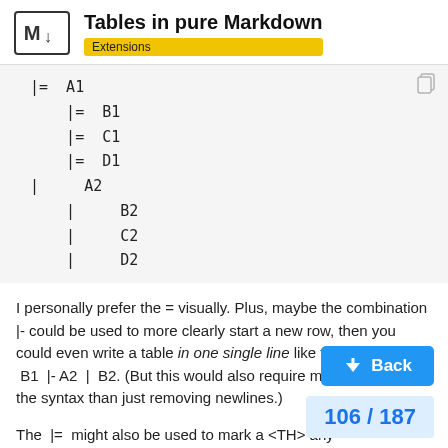Tables in pure Markdown — Extensions
[Figure (screenshot): Code block showing markdown table syntax with |= and | characters: |= A1, |= B1, |= C1, |= D1, | A2, | B2, | C2, | D2]
I personally prefer the = visually. Plus, maybe the combination |- could be used to more clearly start a new row, then you could even write a table in one single line like this: |= A1 | B1 |- A2 | B2. (But this would also require more changes to the syntax than just removing newlines.)
The |= might also be used to mark a <TH> any table. Most common usecase might be flip headers are on the left, instead of on top (